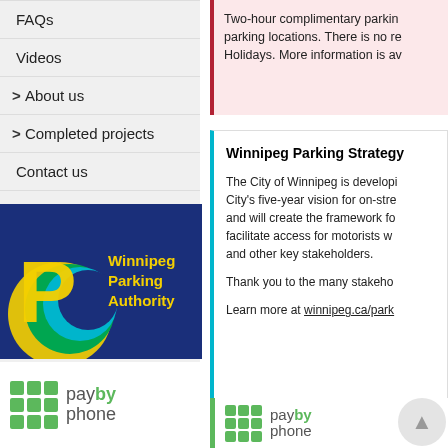FAQs
Videos
> About us
> Completed projects
Contact us
Site map
[Figure (logo): Winnipeg Parking Authority logo with blue background, yellow P, yellow/green/blue swoosh, and yellow text 'Winnipeg Parking Authority']
[Figure (logo): Pay by phone logo with green dots grid and grey/green text]
Two-hour complimentary parking locations. There is no re- Holidays. More information is av
Winnipeg Parking Strategy
The City of Winnipeg is developing City's five-year vision for on-street and will create the framework for facilitate access for motorists with and other key stakeholders.
Thank you to the many stakeho
Learn more at winnipeg.ca/park
[Figure (logo): Pay by phone logo with green dots grid and text, inside green-bordered box at bottom]